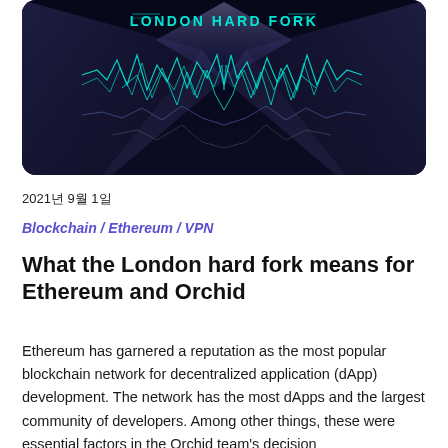[Figure (illustration): Dark futuristic banner image with teal/cyan waveform graphics and text 'LONDON HARD FORK' centered at the top on a dark blue-black background with diamond/prism shapes]
2021년 9월 1일
Blockchain / Ethereum / VPN
What the London hard fork means for Ethereum and Orchid
Ethereum has garnered a reputation as the most popular blockchain network for decentralized application (dApp) development. The network has the most dApps and the largest community of developers. Among other things, these were essential factors in the Orchid team's decision